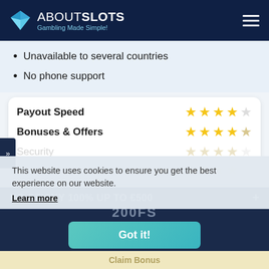ABOUTSLOTS - Gambling Made Simple!
Unavailable to several countries
No phone support
Payout Speed - 4 stars; Bonuses & Offers - 4.5 stars; Security - (faded); Software - (faded)
This website uses cookies to ensure you get the best experience on our website.
Learn more
NO-STICKY 100% UP TO €500 +
200FS
Got it!
Claim Bonus